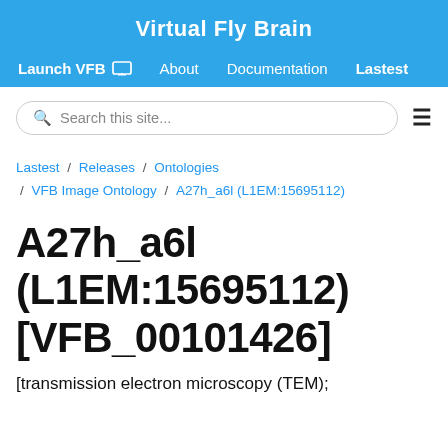Virtual Fly Brain
Launch VFB  About  Documentation  Lastest
Search this site...
Lastest / Releases / Ontologies / VFB Image Ontology / A27h_a6l (L1EM:15695112)
A27h_a6l (L1EM:15695112) [VFB_00101426]
[transmission electron microscopy (TEM);